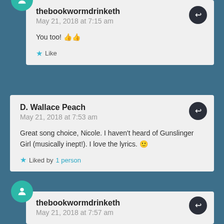thebookwormdrinketh
May 21, 2018 at 7:15 am
You too! 👍👍
★ Like
D. Wallace Peach
May 21, 2018 at 7:53 am
Great song choice, Nicole. I haven't heard of Gunslinger Girl (musically inept!). I love the lyrics. 🙂
★ Liked by 1 person
thebookwormdrinketh
May 21, 2018 at 7:57 am